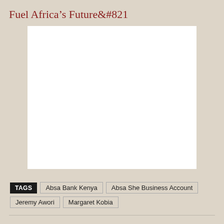Fuel Africa's Future&#821
[Figure (photo): White blank image placeholder area]
TAGS  Absa Bank Kenya  Absa She Business Account  Jeremy Awori  Margaret Kobia